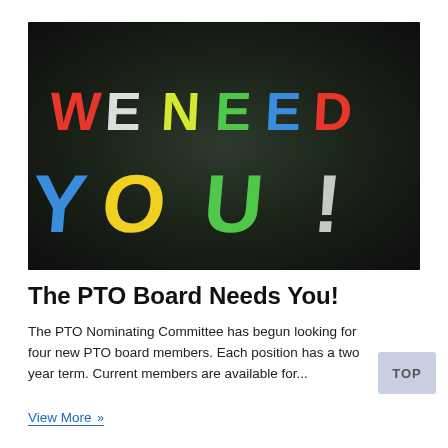[Figure (photo): Chalkboard with colorful chalk lettering reading 'WE NEED YOU!' in large multicolored letters on a dark blackboard background]
The PTO Board Needs You!
The PTO Nominating Committee has begun looking for four new PTO board members. Each position has a two year term. Current members are available for...
View More »